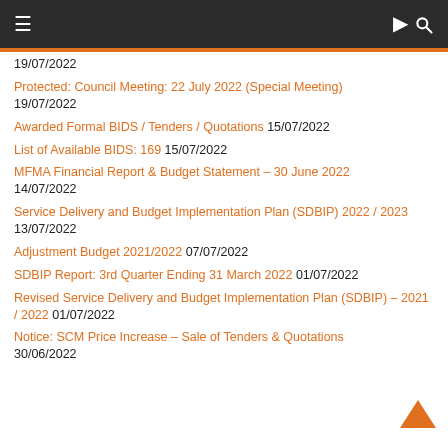≡  🔍
19/07/2022
Protected: Council Meeting: 22 July 2022 (Special Meeting) 19/07/2022
Awarded Formal BIDS / Tenders / Quotations 15/07/2022
List of Available BIDS: 169 15/07/2022
MFMA Financial Report & Budget Statement – 30 June 2022 14/07/2022
Service Delivery and Budget Implementation Plan (SDBIP) 2022 / 2023 13/07/2022
Adjustment Budget 2021/2022 07/07/2022
SDBIP Report: 3rd Quarter Ending 31 March 2022 01/07/2022
Revised Service Delivery and Budget Implementation Plan (SDBIP) – 2021 / 2022 01/07/2022
Notice: SCM Price Increase – Sale of Tenders & Quotations 30/06/2022